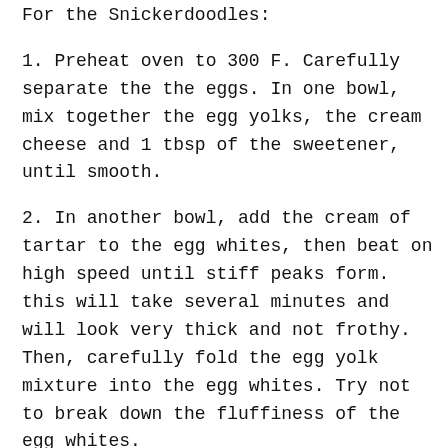For the Snickerdoodles:
1. Preheat oven to 300 F. Carefully separate the the eggs. In one bowl, mix together the egg yolks, the cream cheese and 1 tbsp of the sweetener, until smooth.
2. In another bowl, add the cream of tartar to the egg whites, then beat on high speed until stiff peaks form. this will take several minutes and will look very thick and not frothy. Then, carefully fold the egg yolk mixture into the egg whites. Try not to break down the fluffiness of the egg whites.
3. Grease two baking sheets, then scoop the mixture into 20 small rounds. Mix the remaining sweetener